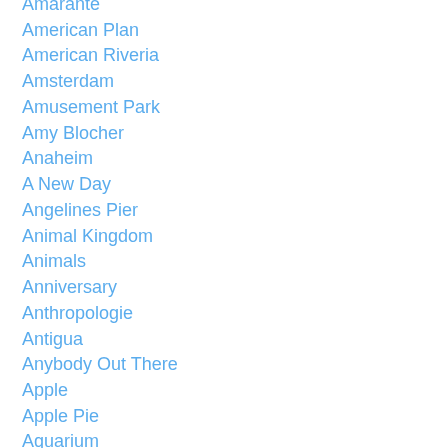Amarante
American Plan
American Riveria
Amsterdam
Amusement Park
Amy Blocher
Anaheim
A New Day
Angelines Pier
Animal Kingdom
Animals
Anniversary
Anthropologie
Antigua
Anybody Out There
Apple
Apple Pie
Aquarium
Arizona
Art
Arubas